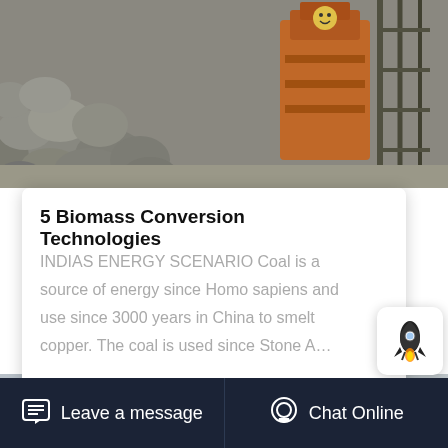[Figure (photo): Industrial/mining equipment with rocks and orange machinery in background]
5 Biomass Conversion Technologies
INDIAS ENERGY SCENARIO Coal is a source of energy since Homo sapiens and use since 3000 years in China to smelt copper. The coal is used since Stone A…
[Figure (photo): Industrial crane or heavy equipment against concrete wall]
Leave a message   Chat Online